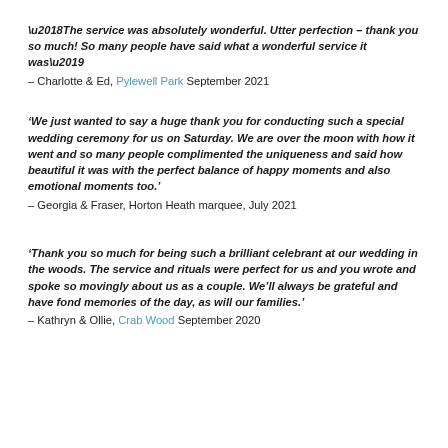‘The service was absolutely wonderful. Utter perfection – thank you so much! So many people have said what a wonderful service it was’
– Charlotte & Ed, Pylewell Park September 2021
‘We just wanted to say a huge thank you for conducting such a special wedding ceremony for us on Saturday. We are over the moon with how it went and so many people complimented the uniqueness and said how beautiful it was with the perfect balance of happy moments and also emotional moments too.’
– Georgia & Fraser, Horton Heath marquee, July 2021
‘Thank you so much for being such a brilliant celebrant at our wedding in the woods. The service and rituals were perfect for us and you wrote and spoke so movingly about us as a couple. We’ll always be grateful and have fond memories of the day, as will our families.’
– Kathryn & Ollie, Crab Wood September 2020